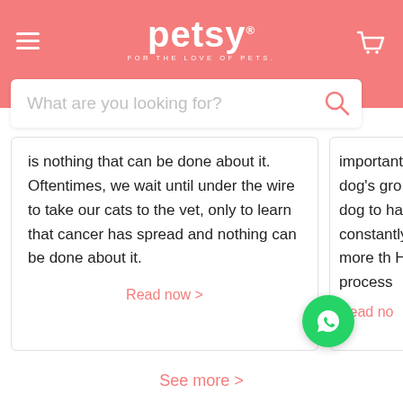petsy FOR THE LOVE OF PETS
[Figure (screenshot): Search bar with placeholder text 'What are you looking for?' and search icon on salmon/pink background]
is nothing that can be done about it. Oftentimes, we wait until under the wire to take our cats to the vet, only to learn that cancer has spread and nothing can be done about it.
Read now >
important part o be your dog's gro While not all dog to have their ears constantly, some cleaning more th Here is an easy-t process n y
Read no
See more >